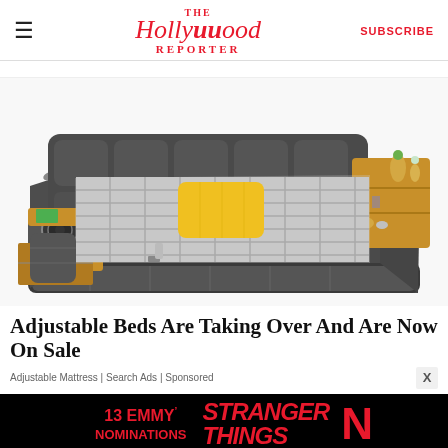THE Hollywood Reporter | SUBSCRIBE
breadcrumb navigation placeholder
[Figure (photo): A large luxury modular bed with dark grey upholstery, built-in side tables, speakers, storage drawers, and a plaid mattress with a yellow pillow.]
Adjustable Beds Are Taking Over And Are Now On Sale
Adjustable Mattress | Search Ads | Sponsored
[Figure (infographic): Stranger Things Netflix advertisement banner: '13 EMMY NOMINATIONS' in red on black background with Stranger Things logo and Netflix N logo.]